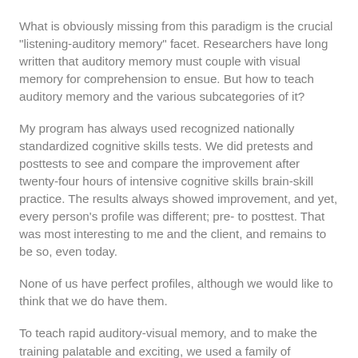What is obviously missing from this paradigm is the crucial "listening-auditory memory" facet. Researchers have long written that auditory memory must couple with visual memory for comprehension to ensue. But how to teach auditory memory and the various subcategories of it?
My program has always used recognized nationally standardized cognitive skills tests. We did pretests and posttests to see and compare the improvement after twenty-four hours of intensive cognitive skills brain-skill practice. The results always showed improvement, and yet, every person's profile was different; pre- to posttest. That was most interesting to me and the client, and remains to be so, even today.
None of us have perfect profiles, although we would like to think that we do have them.
To teach rapid auditory-visual memory, and to make the training palatable and exciting, we used a family of ventriloquist puppets, speaking in tonal sequences.